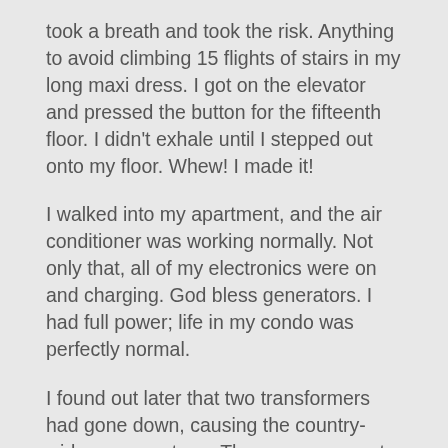took a breath and took the risk. Anything to avoid climbing 15 flights of stairs in my long maxi dress. I got on the elevator and pressed the button for the fifteenth floor. I didn't exhale until I stepped out onto my floor. Whew! I made it!
I walked into my apartment, and the air conditioner was working normally. Not only that, all of my electronics were on and charging. God bless generators. I had full power; life in my condo was perfectly normal.
I found out later that two transformers had gone down, causing the country-wide power outage. The power was out a total of about 5 hours. I have to say I was impressed. I've lost power for longer periods of time in the U.S.
For those who think Panama is a third-world country, think again. Aside from missing  lunch with my friends, the power outage didn't affect my life at all. Darn! I was looking forward to a lazy afternoon lolling in the pool with an adult beverage.